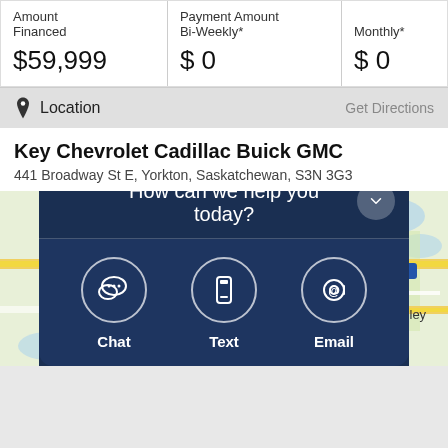| Amount Financed | Payment Amount Bi-Weekly* | Monthly* |
| --- | --- | --- |
| $59,999 | $0 | $0 |
Location
Get Directions
Key Chevrolet Cadillac Buick GMC
441 Broadway St E, Yorkton, Saskatchewan, S3N 3G3
[Figure (map): Street map showing Yorkton, Saskatchewan area with roads including highway 16, highway 9, highway 52, highway 10. Town of Yorkton labeled with surrounding roads. Calley visible to the east.]
How can we help you today?
Chat
Text
Email